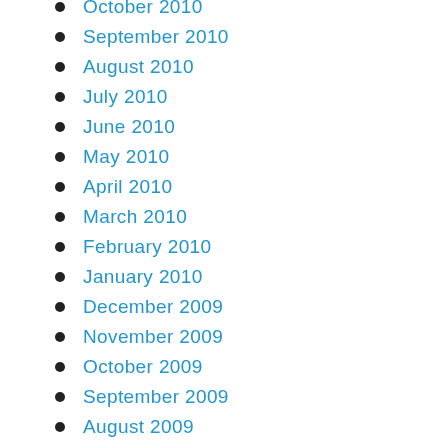October 2010
September 2010
August 2010
July 2010
June 2010
May 2010
April 2010
March 2010
February 2010
January 2010
December 2009
November 2009
October 2009
September 2009
August 2009
July 2009
June 2009